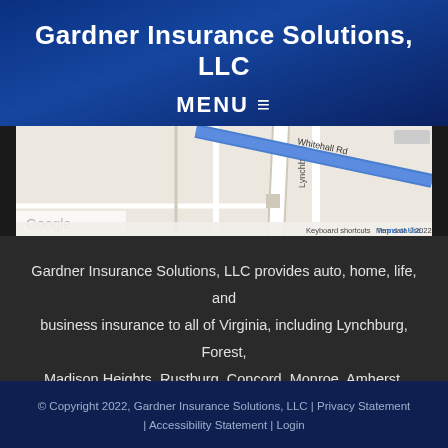Gardner Insurance Solutions, LLC
MENU ≡
[Figure (map): Google Maps screenshot showing Lynchburg area roads including Whitehall Rd, with a blue route line. Shows Google branding, Keyboard shortcuts, Map data ©2022, Terms of Use.]
Gardner Insurance Solutions, LLC provides auto, home, life, and business insurance to all of Virginia, including Lynchburg, Forest, Madison Heights, Rustburg, Concord, Monroe, Amherst, Bedford, AltaVista, and Wintergreen.
© Copyright 2022, Gardner Insurance Solutions, LLC | Privacy Statement | Accessibility Statement | Login